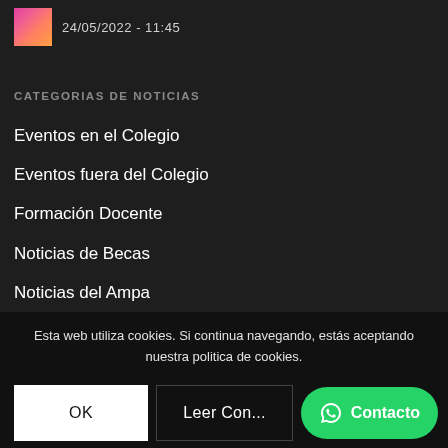24/05/2022 - 11:45
CATEGORIAS DE NOTICIAS
Eventos en el Colegio
Eventos fuera del Colegio
Formación Docente
Noticias de Becas
Noticias del Ampa
Noticias del Comedor
Noticias Importantes
Padres y Alumnos
Esta web utiliza cookies. Si continua navegando, estás aceptando nuestra politica de cookies.
OK
Leer Con...
Contacto